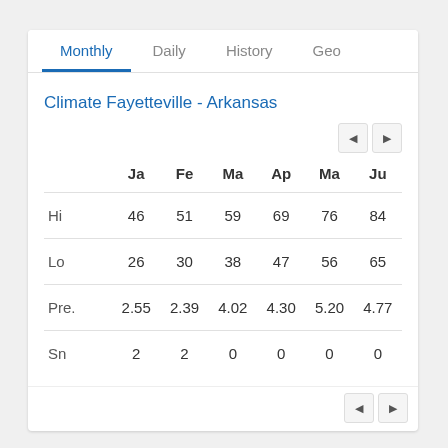Monthly | Daily | History | Geo
Climate Fayetteville - Arkansas
|  | Ja | Fe | Ma | Ap | Ma | Ju |
| --- | --- | --- | --- | --- | --- | --- |
| Hi | 46 | 51 | 59 | 69 | 76 | 84 |
| Lo | 26 | 30 | 38 | 47 | 56 | 65 |
| Pre. | 2.55 | 2.39 | 4.02 | 4.30 | 5.20 | 4.77 |
| Sn | 2 | 2 | 0 | 0 | 0 | 0 |